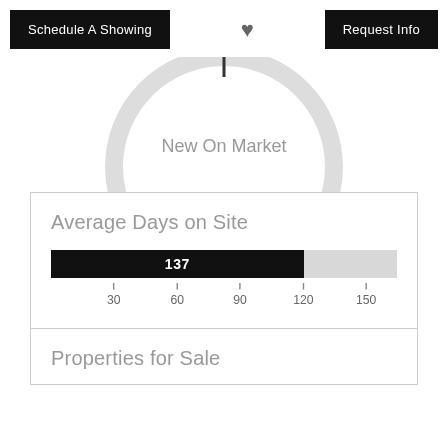Schedule A Showing | [heart] | Request Info
[Figure (other): Partial gauge/dial graphic showing needle at top, with label 'New On Market' inside the dial]
[Figure (bar-chart): Average Days on Site]
Properties for Sale